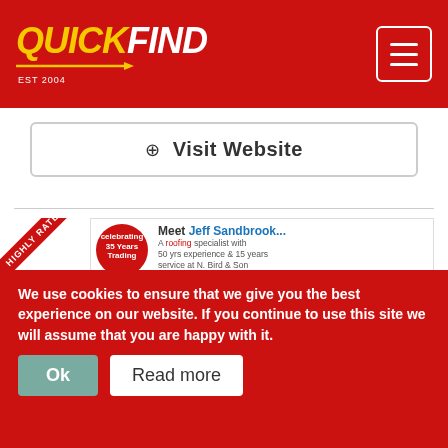[Figure (logo): QuickFind logo in yellow and white on red background with hamburger menu icon]
Visit Website
[Figure (infographic): N. Bird & Son Roofing Services advertisement. Celebrating 35 Years Trading. Meet Jeff Sandbrook... A roofing specialist with 50 yrs experience & 15 years service at N. Bird & Son. All roofing work undertaken by Jeff and the team, except chimneys... that would be Jeff's Dad! Services: Ridge Tiles, Lead Work, Guttering, New Roofs, Flashings, Chimneys, Fascias, Flat Roofs, GRP Roofing. No Payment Until You Are 100% Satisfied. FREEPHONE 0800 195 6946. LOCAL 0121 605 0033.]
We use cookies to ensure that we give you the best experience on our website. If you continue to use this site we will assume that you are happy with it. Ok  Read more